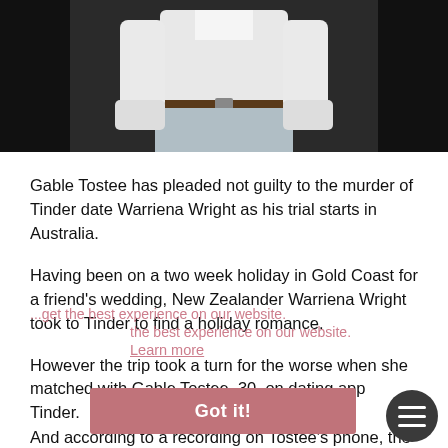[Figure (photo): Photo of a man in a white long-sleeve shirt with a dark belt and light trousers, photographed from chest down against a dark background]
Gable Tostee has pleaded not guilty to the murder of Tinder date Warriena Wright as his trial starts in Australia.
Having been on a two week holiday in Gold Coast for a friend's wedding, New Zealander Warriena Wright took to Tinder to find a holiday romance.
However the trip took a turn for the worse when she matched with Gable Tostee, 30, on dating app Tinder.
The two met for the first time on the evening of the 7th August 2014, ending the night at Tostee's Surfers Paradise apartment, a Brisbane court heard.
And according to a recording on Tostee's phone, the argued in the early hours of 8th August, which led to being restrained by her date.